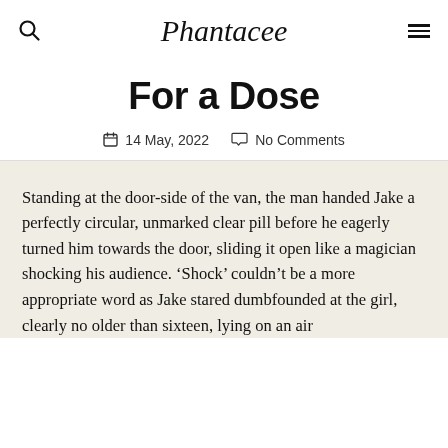Phantacee
For a Dose
14 May, 2022   No Comments
Standing at the door-side of the van, the man handed Jake a perfectly circular, unmarked clear pill before he eagerly turned him towards the door, sliding it open like a magician shocking his audience. ‘Shock’ couldn’t be a more appropriate word as Jake stared dumbfounded at the girl, clearly no older than sixteen, lying on an air